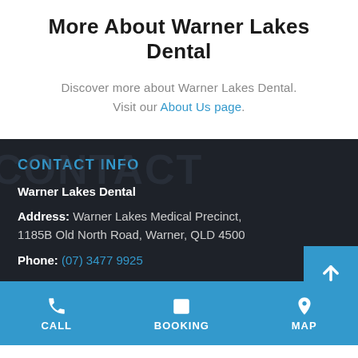More About Warner Lakes Dental
Discover more about Warner Lakes Dental. Visit our About Us page.
CONTACT INFO
Warner Lakes Dental
Address: Warner Lakes Medical Precinct, 1185B Old North Road, Warner, QLD 4500
Phone: (07) 3477 9925
Email: info@warnerlakesdental.com.au
CALL | BOOKING | MAP